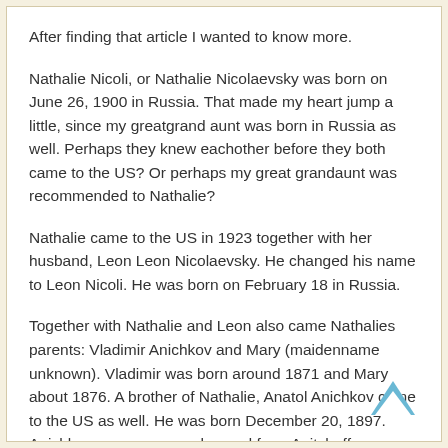After finding that article I wanted to know more.
Nathalie Nicoli, or Nathalie Nicolaevsky was born on June 26, 1900 in Russia. That made my heart jump a little, since my greatgrand aunt was born in Russia as well. Perhaps they knew eachother before they both came to the US? Or perhaps my great grandaunt was recommended to Nathalie?
Nathalie came to the US in 1923 together with her husband, Leon Leon Nicolaevsky. He changed his name to Leon Nicoli. He was born on February 18 in Russia.
Together with Nathalie and Leon also came Nathalies parents: Vladimir Anichkov and Mary (maidenname unknown). Vladimir was born around 1871 and Mary about 1876. A brother of Nathalie, Anatol Anichkov came to the US as well. He was born December 20, 1897. Anichkov surname was changed from Anitchoff.
[Figure (other): Back to top arrow icon (chevron up) in blue/cyan color, positioned at bottom right of page]